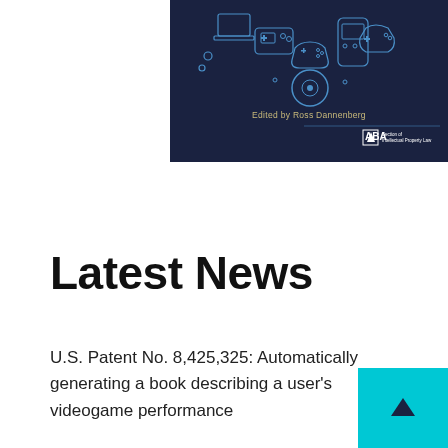[Figure (illustration): Book cover with dark navy blue background featuring line-art gaming device icons (controllers, handheld consoles, VR headsets) in blue outline. Text reads 'Edited by Ross Dannenberg' in gold/tan color, with ABA Section of Intellectual Property Law logo at bottom right.]
Latest News
U.S. Patent No. 8,425,325: Automatically generating a book describing a user's videogame performance